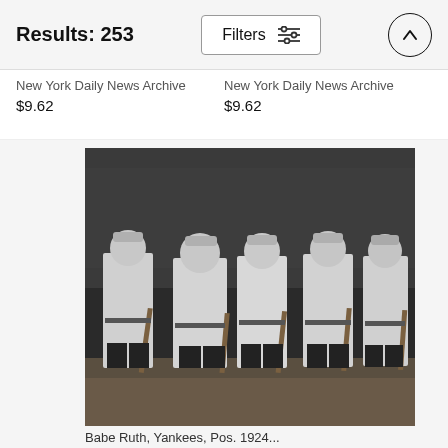Results: 253
New York Daily News Archive
$9.62
New York Daily News Archive
$9.62
[Figure (photo): Black and white photograph of five New York Yankees baseball players in pinstripe uniforms standing in a row on a baseball field, each holding a bat, with a stadium grandstand and crowd visible in the background.]
Babe Ruth, Yankees, Pos. 1924...